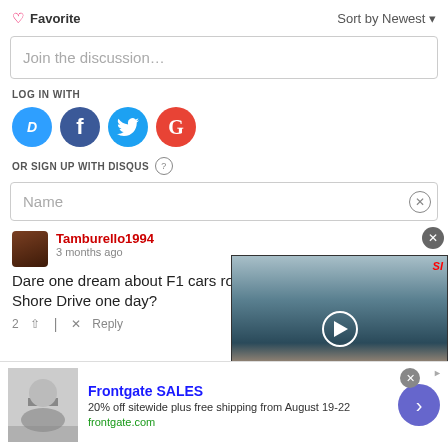♡ Favorite
Sort by Newest ▼
Join the discussion…
LOG IN WITH
[Figure (screenshot): Social login icons: Disqus (D), Facebook (f), Twitter bird, Google (G)]
OR SIGN UP WITH DISQUS (?)
Name
Tamburello1994 — 3 months ago
Dare one dream about F1 cars ro… Shore Drive one day?
[Figure (screenshot): Video overlay: Kimi Raikkonen at Watkins Glen, SI branded. Caption: KIMI RAIKKONEN'S PRESENCE TO WATKINS GLEN THIS WEEKEND WILL LIKELY GARNER GLOBAL ATTENTION AS HE MAKES HIS NASCAR CUP SERIES DEBUT.]
2  ↑ | ✕  Reply
[Figure (screenshot): Advertisement: Frontgate SALES — 20% off sitewide plus free shipping from August 19-22. frontgate.com]